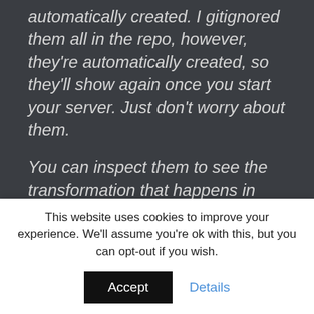automatically created. I gitignored them all in the repo, however, they're automatically created, so they'll show again once you start your server. Just don't worry about them.

You can inspect them to see the transformation that happens in getting your .ts files into .js
import { NgModule }      from '@angular/core';
import { FormsModule } from '@angular/forms';
This website uses cookies to improve your experience. We'll assume you're ok with this, but you can opt-out if you wish.
Accept
Details